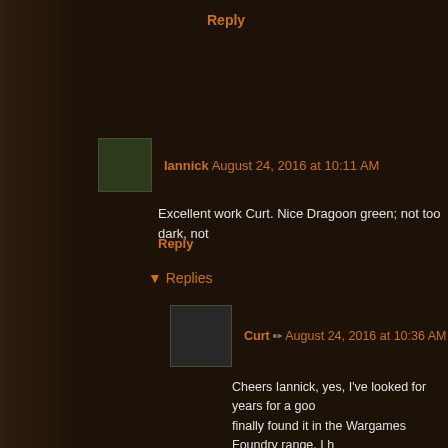Reply
Iannick August 24, 2016 at 10:11 AM
Excellent work Curt. Nice Dragoon green; not too dark, not
Reply
Replies
Curt ✏ August 24, 2016 at 10:36 AM
Cheers Iannick, yes, I've looked for years for a goo finally found it in the Wargames Foundry range. I h Napoleonic sets.
Iannick August 24, 2016 at 2:12 PM
Thought I'd recognize it...;-)
Reply